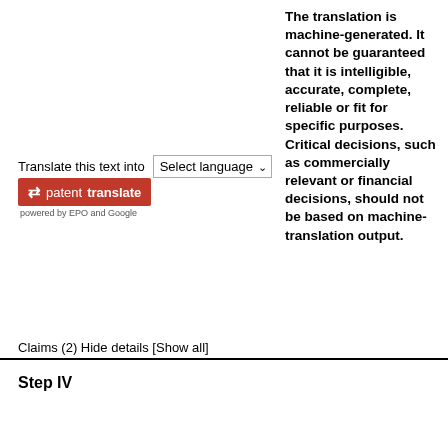The translation is machine-generated. It cannot be guaranteed that it is intelligible, accurate, complete, reliable or fit for specific purposes. Critical decisions, such as commercially relevant or financial decisions, should not be based on machine-translation output.
Translate this text into   Select language
[Figure (logo): Patent Translate logo — red box with white arrows and text 'patenttranslate', with subtitle 'powered by EPO and Google']
Claims (2) Hide details [Show all]
Step IV